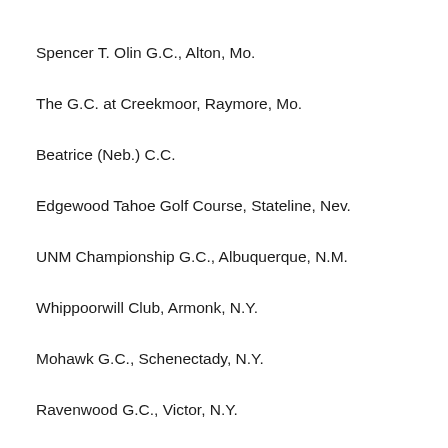Spencer T. Olin G.C., Alton, Mo.
The G.C. at Creekmoor, Raymore, Mo.
Beatrice (Neb.) C.C.
Edgewood Tahoe Golf Course, Stateline, Nev.
UNM Championship G.C., Albuquerque, N.M.
Whippoorwill Club, Armonk, N.Y.
Mohawk G.C., Schenectady, N.Y.
Ravenwood G.C., Victor, N.Y.